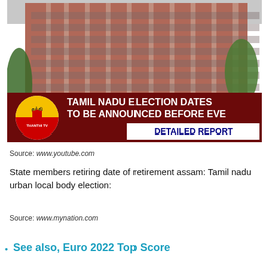[Figure (photo): A tall multi-storey red-brick building with a TV news overlay banner at the bottom. The banner shows the Thanthi TV logo and reads: TAMIL NADU ELECTION DATES TO BE ANNOUNCED BEFORE EVE — DETAILED REPORT]
Source: www.youtube.com
State members retiring date of retirement assam: Tamil nadu urban local body election:
Source: www.mynation.com
See also, Euro 2022 Top Score